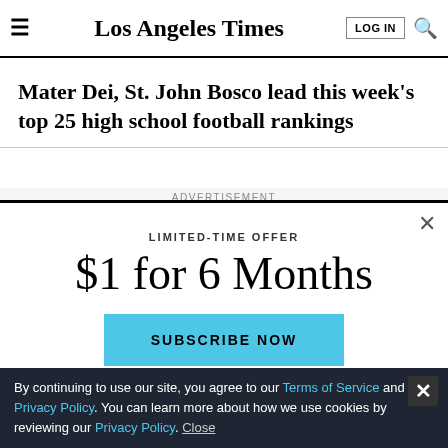Los Angeles Times
Mater Dei, St. John Bosco lead this week's top 25 high school football rankings
ADVERTISEMENT
LIMITED-TIME OFFER
$1 for 6 Months
SUBSCRIBE NOW
By continuing to use our site, you agree to our Terms of Service and Privacy Policy. You can learn more about how we use cookies by reviewing our Privacy Policy. Close